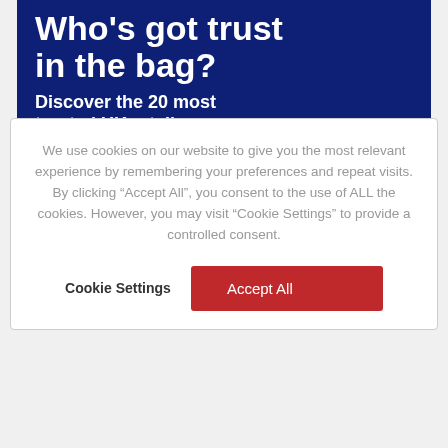Who's got trust in the bag?
Discover the 20 most trusted UK retailers
We use cookies on our website to give you the most relevant experience by remembering your preferences and repeat visits. By clicking “Accept All”, you consent to the use of ALL the cookies. However, you may visit “Cookie Settings” to provide a controlled consent.
Cookie Settings
Accept All